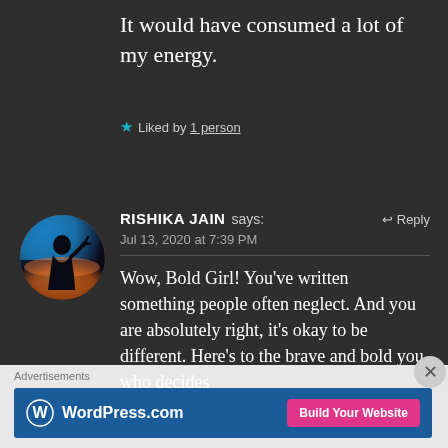It would have consumed a lot of my energy.
★ Liked by 1 person
[Figure (photo): Circular avatar photo showing a silhouette of a person against a sunset background with orange and blue tones]
RISHIKA JAIN says: ↩ Reply
Jul 13, 2020 at 7:39 PM
Wow, Bold Girl! You've written something people often neglect. And you are absolutely right, it's okay to be different. Here's to the brave and bold you who decides
Advertisements
[Figure (screenshot): WordPress.com advertisement banner with blue background, WordPress logo and 'Build Your Website' pink button]